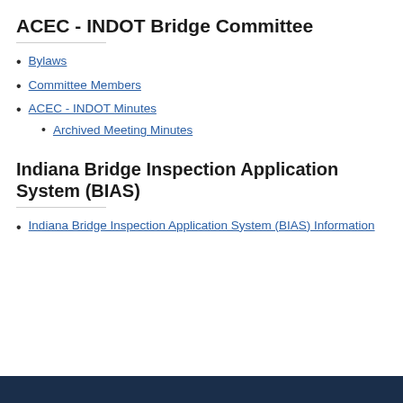ACEC - INDOT Bridge Committee
Bylaws
Committee Members
ACEC - INDOT Minutes
Archived Meeting Minutes
Indiana Bridge Inspection Application System (BIAS)
Indiana Bridge Inspection Application System (BIAS) Information